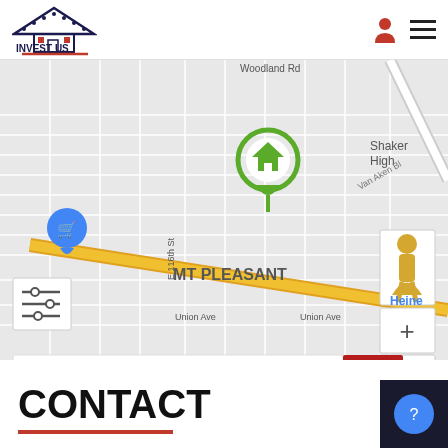[Figure (logo): Invest US logo with house icon and red underline]
[Figure (map): Google map showing MT PLEASANT neighborhood in Cleveland area with a green house pin marker, yellow diagonal road, blue shopping cart pin, street labels including E 116th St, Union Ave, Van Aken Blvd, Woodland Rd, Shaker High. Map includes zoom controls, street view pegman, search bar with 'Enter a location' and red search button. Map data 2022, Terms of Use shown.]
CONTACT